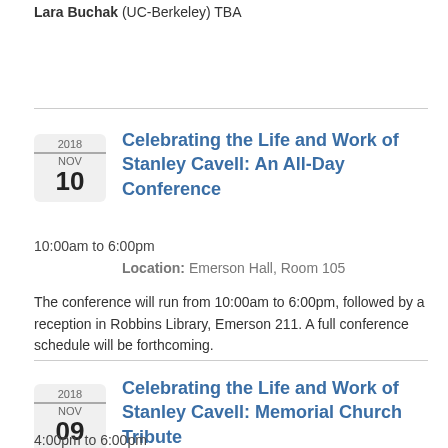Lara Buchak (UC-Berkeley) TBA
Celebrating the Life and Work of Stanley Cavell: An All-Day Conference
10:00am to 6:00pm
Location: Emerson Hall, Room 105
The conference will run from 10:00am to 6:00pm, followed by a reception in Robbins Library, Emerson 211. A full conference schedule will be forthcoming.
Celebrating the Life and Work of Stanley Cavell: Memorial Church Tribute
4:00pm to 6:00pm
Location: Memorial Church, Harvard University